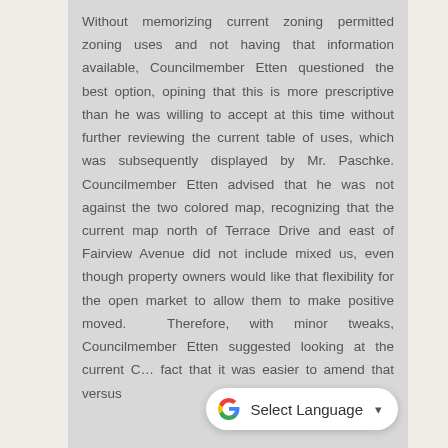Without memorizing current zoning permitted zoning uses and not having that information available, Councilmember Etten questioned the best option, opining that this is more prescriptive than he was willing to accept at this time without further reviewing the current table of uses, which was subsequently displayed by Mr. Paschke. Councilmember Etten advised that he was not against the two colored map, recognizing that the current map north of Terrace Drive and east of Fairview Avenue did not include mixed us, even though property owners would like that flexibility for the open market to allow them to make positive moved. Therefore, with minor tweaks, Councilmember Etten suggested looking at the current C... fact that it was easier to amend that versus